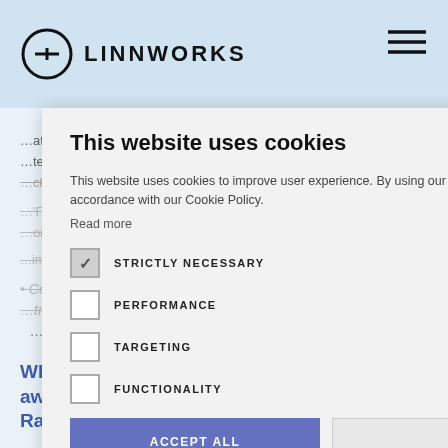LINNWORKS
[Figure (screenshot): Cookie consent modal overlay on Linnworks website. Background shows article text about Amazon tracking. Modal contains title 'This website uses cookies', descriptive text, checkboxes for STRICTLY NECESSARY (checked), PERFORMANCE, TARGETING, FUNCTIONALITY, and buttons ACCEPT ALL and DECLINE ALL, plus SHOW DETAILS link.]
This website uses cookies
This website uses cookies to improve user experience. By using our website you consent to all cookies in accordance with our Cookie Policy. Read more
STRICTLY NECESSARY
PERFORMANCE
TARGETING
FUNCTIONALITY
ACCEPT ALL
DECLINE ALL
SHOW DETAILS
Why do sellers on Amazon need to be aware of Amazon Valid Tracking Rates?